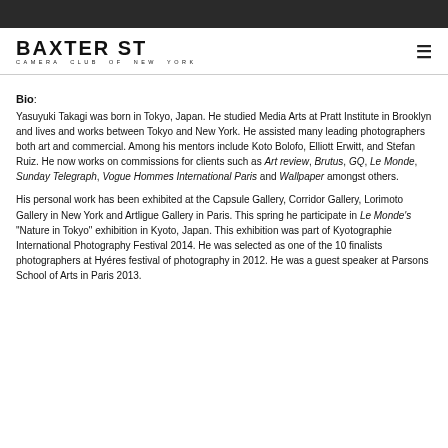BAXTER ST / CAMERA CLUB OF NEW YORK
Bio:
Yasuyuki Takagi was born in Tokyo, Japan. He studied Media Arts at Pratt Institute in Brooklyn and lives and works between Tokyo and New York. He assisted many leading photographers both art and commercial. Among his mentors include Koto Bolofo, Elliott Erwitt, and Stefan Ruiz. He now works on commissions for clients such as Art review, Brutus, GQ, Le Monde, Sunday Telegraph, Vogue Hommes International Paris and Wallpaper amongst others.
His personal work has been exhibited at the Capsule Gallery, Corridor Gallery, Lorimoto Gallery in New York and Artligue Gallery in Paris. This spring he participate in Le Monde's "Nature in Tokyo" exhibition in Kyoto, Japan. This exhibition was part of Kyotographie International Photography Festival 2014. He was selected as one of the 10 finalists photographers at Hyéres festival of photography in 2012. He was a guest speaker at Parsons School of Arts in Paris 2013.